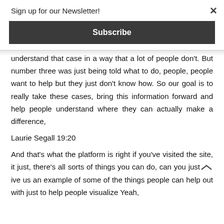Sign up for our Newsletter!
Subscribe
understand that case in a way that a lot of people don't. But number three was just being told what to do, people, people want to help but they just don't know how. So our goal is to really take these cases, bring this information forward and help people understand where they can actually make a difference,
Laurie Segall 19:20
And that's what the platform is right if you've visited the site, it just, there's all sorts of things you can do, can you just give us an example of some of the things people can help out with just to help people visualize Yeah,